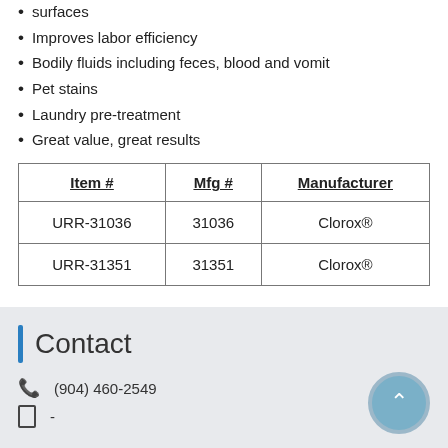surfaces
Improves labor efficiency
Bodily fluids including feces, blood and vomit
Pet stains
Laundry pre-treatment
Great value, great results
| Item # | Mfg # | Manufacturer |
| --- | --- | --- |
| URR-31036 | 31036 | Clorox® |
| URR-31351 | 31351 | Clorox® |
Contact
(904) 460-2549
-